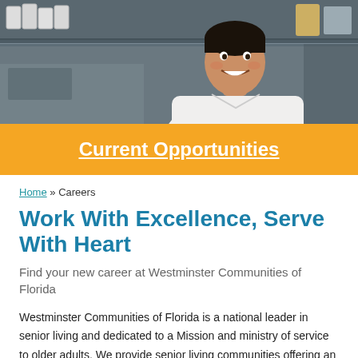[Figure (photo): A smiling chef in white uniform standing in a commercial kitchen with shelving and dishes in the background]
Current Opportunities
Home » Careers
Work With Excellence, Serve With Heart
Find your new career at Westminster Communities of Florida
Westminster Communities of Florida is a national leader in senior living and dedicated to a Mission and ministry of service to older adults. We provide senior living communities offering an active lifestyle and excellent care to our residents.
We're so glad you're interested in learning more about joining our